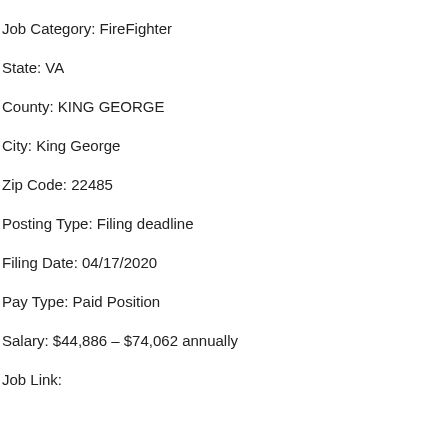Job Category: FireFighter
State: VA
County: KING GEORGE
City: King George
Zip Code: 22485
Posting Type: Filing deadline
Filing Date: 04/17/2020
Pay Type: Paid Position
Salary: $44,886 – $74,062 annually
Job Link: